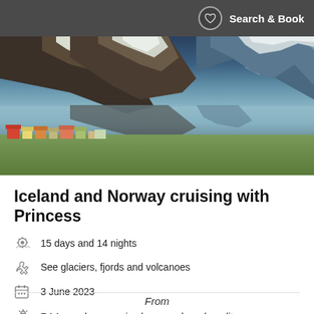Search & Book
[Figure (photo): Scenic mountain landscape with snow-capped peaks reflected in a fjord, with a small Nordic village in the foreground]
Iceland and Norway cruising with Princess
15 days and 14 nights
See glaciers, fjords and volcanoes
3 June 2023
RAA members receive bonus onboard credit
From